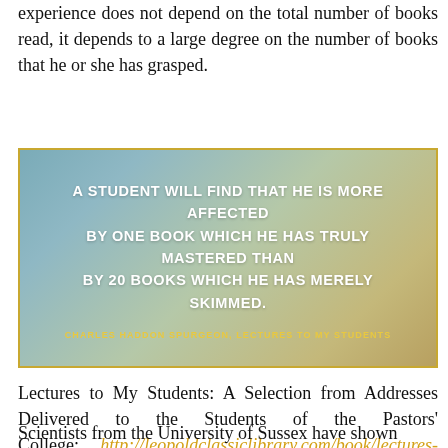experience does not depend on the total number of books read, it depends to a large degree on the number of books that he or she has grasped.
[Figure (illustration): Quote box with gradient background (teal, green, gold) and gold border containing white uppercase text: 'A STUDENT WILL FIND THAT HE IS MORE AFFECTED BY ONE BOOK WHICH HE HAS TRULY MASTERED THAN BY 20 BOOKS WHICH HE HAS MERELY SKIMMED.' with gold attribution text: 'CHARLES HADDON SPURGEON, LECTURES TO MY STUDENTS']
Lectures to My Students: A Selection from Addresses Delivered to the Students of the Pastors' College: http://leopoldclassiclibrary.com/book/lectures-to-my-students-a-selection-from-addresses-delivered-to-the-students-of-the-pastors-college-metropolitan-tabernacle-first-series
Scientists from the University of Sussex have shown